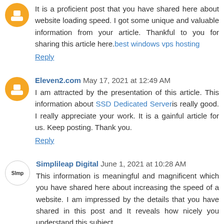It is a proficient post that you have shared here about website loading speed. I got some unique and valuable information from your article. Thankful to you for sharing this article here. best windows vps hosting
Reply
Eleven2.com May 17, 2021 at 12:49 AM
I am attracted by the presentation of this article. This information about SSD Dedicated Server is really good. I really appreciate your work. It is a gainful article for us. Keep posting. Thank you.
Reply
Simplileap Digital June 1, 2021 at 10:28 AM
This information is meaningful and magnificent which you have shared here about increasing the speed of a website. I am impressed by the details that you have shared in this post and It reveals how nicely you understand this subject.